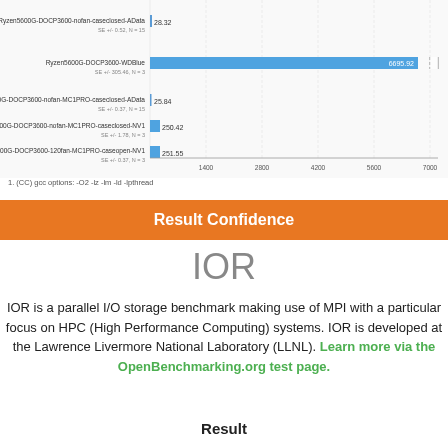[Figure (bar-chart): IOR Benchmark Results]
1. (CC) gcc options: -O2 -lz -lm -ld -lpthread
Result Confidence
IOR
IOR is a parallel I/O storage benchmark making use of MPI with a particular focus on HPC (High Performance Computing) systems. IOR is developed at the Lawrence Livermore National Laboratory (LLNL). Learn more via the OpenBenchmarking.org test page.
Result